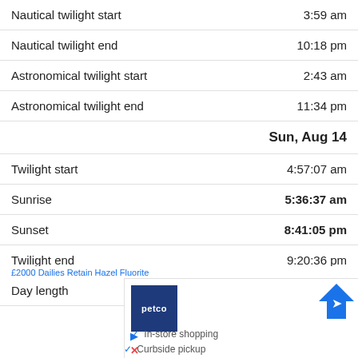| Event | Time |
| --- | --- |
| Nautical twilight start | 3:59 am |
| Nautical twilight end | 10:18 pm |
| Astronomical twilight start | 2:43 am |
| Astronomical twilight end | 11:34 pm |
| Sun, Aug 14 |  |
| Twilight start | 4:57:07 am |
| Sunrise | 5:36:37 am |
| Sunset | 8:41:05 pm |
| Twilight end | 9:20:36 pm |
| Day length | 15:04:28 |
[Figure (other): Petco advertisement banner with store logo, navigation icon, In-store shopping and Curbside pickup text]
£2000 Dailies Retain Hazel Fluorite
In-store shopping
Curbside pickup